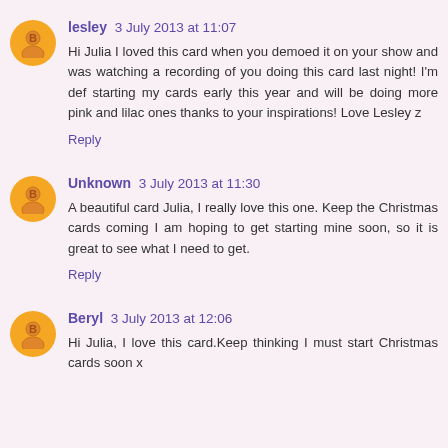lesley 3 July 2013 at 11:07
Hi Julia I loved this card when you demoed it on your show and was watching a recording of you doing this card last night! I'm def starting my cards early this year and will be doing more pink and lilac ones thanks to your inspirations! Love Lesley z
Reply
Unknown 3 July 2013 at 11:30
A beautiful card Julia, I really love this one. Keep the Christmas cards coming I am hoping to get starting mine soon, so it is great to see what I need to get.
Reply
Beryl 3 July 2013 at 12:06
Hi Julia, I love this card.Keep thinking I must start Christmas cards soon x